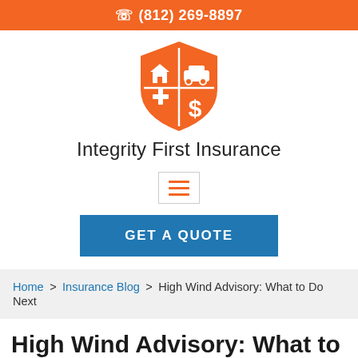(812) 269-8897
[Figure (logo): Integrity First Insurance shield logo with icons for home, car, health (plus), and finance (dollar sign), in orange and white, divided into four quadrants]
Integrity First Insurance
[Figure (other): Hamburger menu button with three orange horizontal bars inside a bordered box]
[Figure (other): Blue GET A QUOTE button]
Home > Insurance Blog > High Wind Advisory: What to Do Next
High Wind Advisory: What to